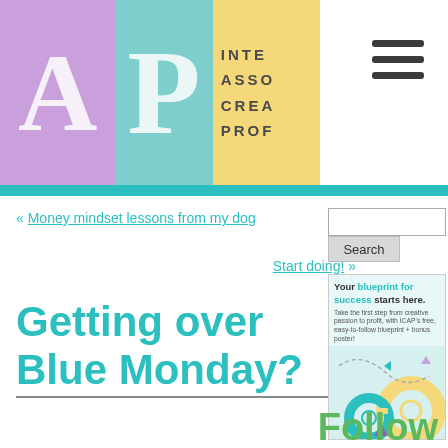[Figure (logo): ICAP logo with purple A block, teal P block, and yellow text block showing INTE ASSO CREA PROF abbreviations]
[Figure (other): Hamburger menu icon with three horizontal dark bars]
« Money mindset lessons from my dog
Start doing! »
Getting over Blue Monday?
[Figure (screenshot): Sidebar ad: Your blueprint for success starts here. Take the first step from creative passion to profit with ICAP's free, easy-to-follow blueprint + bonus poster! Decorative gears illustration. Get in contact us.]
Follow